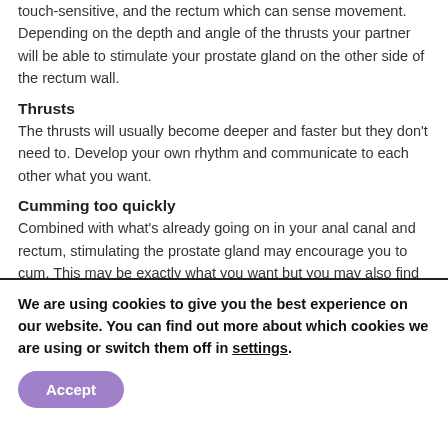At this point, the user will be stimulating the anal canal which is touch-sensitive, and the rectum which can sense movement. Depending on the depth and angle of the thrusts your partner will be able to stimulate your prostate gland on the other side of the rectum wall.
Thrusts
The thrusts will usually become deeper and faster but they don't need to. Develop your own rhythm and communicate to each other what you want.
Cumming too quickly
Combined with what's already going on in your anal canal and rectum, stimulating the prostate gland may encourage you to cum. This may be exactly what you want but you may also find that you cum too quickly. Remember you can take a break or stop at any time.
We are using cookies to give you the best experience on our website. You can find out more about which cookies we are using or switch them off in settings.